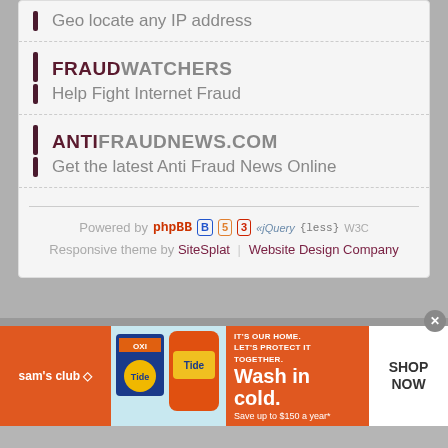Geo locate any IP address
FRAUDWATCHERS
Help Fight Internet Fraud
ANTIFRAUDNEWS.COM
Get the latest Anti Fraud News Online
Powered by phpBB | Responsive theme by SiteSplat | Website Design Company
All times are UTC - 5 hours [ DST ]
[Figure (infographic): Sam's Club Tide advertisement banner: IT'S OUR HOME. LET'S PROTECT IT TOGETHER. Wash in cold. Save up to $150 a year*. SHOP NOW.]